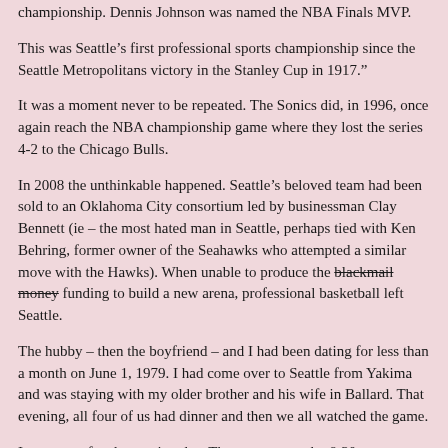championship. Dennis Johnson was named the NBA Finals MVP.
This was Seattle’s first professional sports championship since the Seattle Metropolitans victory in the Stanley Cup in 1917.”
It was a moment never to be repeated. The Sonics did, in 1996, once again reach the NBA championship game where they lost the series 4-2 to the Chicago Bulls.
In 2008 the unthinkable happened. Seattle’s beloved team had been sold to an Oklahoma City consortium led by businessman Clay Bennett (ie – the most hated man in Seattle, perhaps tied with Ken Behring, former owner of the Seahawks who attempted a similar move with the Hawks). When unable to produce the blackmail money funding to build a new arena, professional basketball left Seattle.
The hubby – then the boyfriend – and I had been dating for less than a month on June 1, 1979. I had come over to Seattle from Yakima and was staying with my older brother and his wife in Ballard. That evening, all four of us had dinner and then we all watched the game.
It was a perfect late spring day. The temperature by 8:30 p.m. was an ideal 75 degrees, down from a high of 84 that day. When the final shot